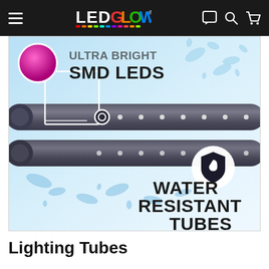LEDGlow navigation bar with hamburger menu, logo, chat, search, and cart icons
[Figure (photo): Product feature image showing two dark grey LED lighting tubes with water splashing around them on a light blue/white background. Text overlays read 'ULTRA BRIGHT SMD LEDS' in the upper portion and 'WATER RESISTANT TUBES' in the lower right, with a water-resistant shield icon badge. A pink/magenta circle callout highlights the SMD LEDs, and a white circle callout ring highlights the tube connector area.]
Lighting Tubes